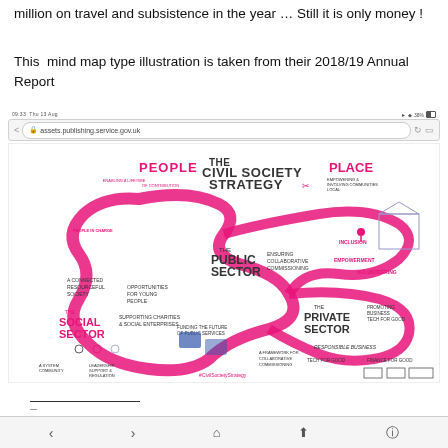million on travel and subsistence in the year … Still it is only money !
This  mind map type illustration is taken from their 2018/19 Annual Report
[Figure (screenshot): Screenshot of a mobile browser showing assets.publishing.service.gov.uk with a colourful mind-map illustration titled 'The Civil Society Strategy' from the UK government 2018/19 Annual Report. The illustration shows sections for People, Place, The Public Sector, The Social Sector, and The Private Sector connected by a flowing pink ribbon, with drawn characters and labels throughout.]
—